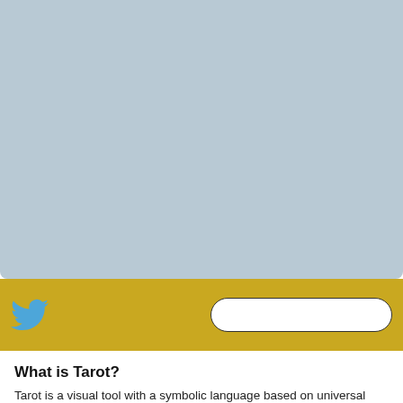[Figure (illustration): Large light blue-grey rounded rectangle placeholder image area, occupying the top portion of the page.]
[Figure (screenshot): Gold/mustard colored toolbar bar containing a blue Twitter bird icon on the left and a white rounded search input box on the right.]
What is Tarot?
Tarot is a visual tool with a symbolic language based on universal archetypes, id